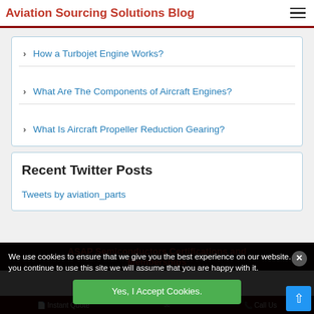Aviation Sourcing Solutions Blog
How a Turbojet Engine Works?
What Are The Components of Aircraft Engines?
What Is Aircraft Propeller Reduction Gearing?
Recent Twitter Posts
Tweets by aviation_parts
ASAP Semiconductors Certifications and Memberships
We use cookies to ensure that we give you the best experience on our website. If you continue to use this site we will assume that you are happy with it.
Yes, I Accept Cookies.